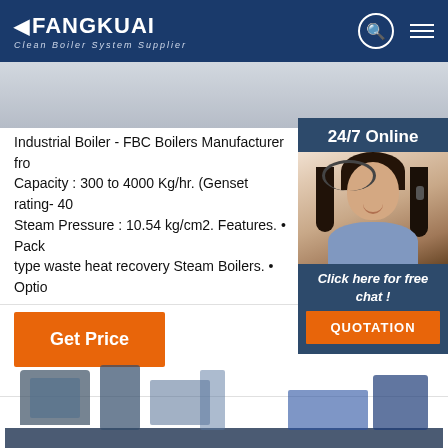FANGKUAI Clean Boiler System Supplier
[Figure (photo): Light grey image strip at top of page below header]
[Figure (photo): 24/7 Online chat widget with female agent photo, 'Click here for free chat!' text, and QUOTATION button]
Industrial Boiler - FBC Boilers Manufacturer from Capacity : 300 to 4000 Kg/hr. (Genset rating- 400 Steam Pressure : 10.54 kg/cm2. Features. • Pack type waste heat recovery Steam Boilers. • Option economizer for heat recovery. • Dual stream or T version. • X-M – oil/gas firing back-up option. • H Thermal Oil Media.
[Figure (other): Orange 'Get Price' button]
[Figure (other): TOP arrow decoration with orange dots and text]
[Figure (photo): Industrial boiler machinery photo at bottom of page]